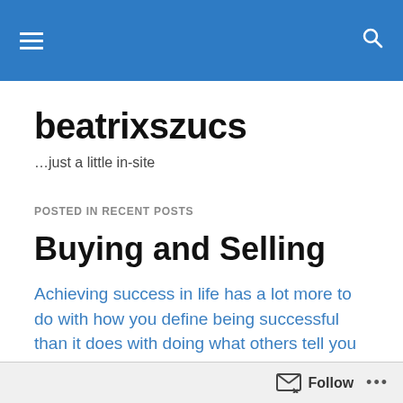beatrixszucs — site header navigation bar
beatrixszucs
…just a little in-site
POSTED IN RECENT POSTS
Buying and Selling
Achieving success in life has a lot more to do with how you define being successful than it does with doing what others tell you to do.
So long as people buy what someone is putting out
Follow